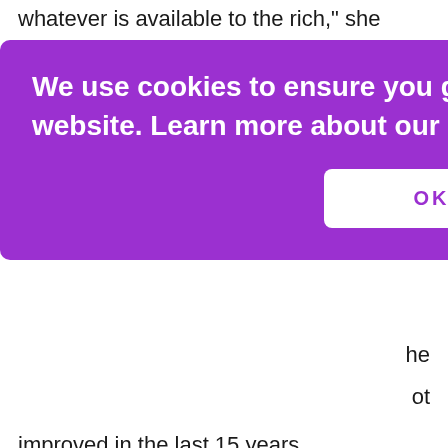whatever is available to the rich," she stressed.
[Figure (screenshot): Cookie consent overlay popup with purple background. Text reads: 'We use cookies to ensure you get the best experience on our website. Learn more about our privacy policy.' with an OKAY button.]
he
ot
improved in the last 15 years.
“We must go back to the health basics. Those should be the concerns that we have. That’s part of our job, to ensure that the poorest of the poor are covered [by our health budget] and that these children become healthier,” she noted.
“We need to address this because this will help our children fight [dengue]. When they are malnourished or do not have the proper